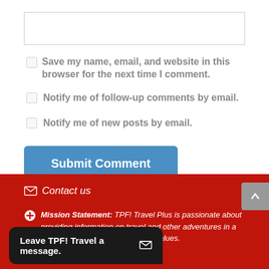[Figure (screenshot): Empty text input box with border]
Save my name, email, and website in this browser for the next time I comment.
Notify me of follow-up comments by email.
Notify me of new posts by email.
[Figure (screenshot): Submit Comment button in blue]
Contact us
Mission Statement: TPF! Travel Plus is passionate about providing information on travel and other adventures in a method consistent with Christian values.
[Figure (screenshot): Social media icons (Facebook, Twitter) and Leave TPF! Travel a message chat bubble]